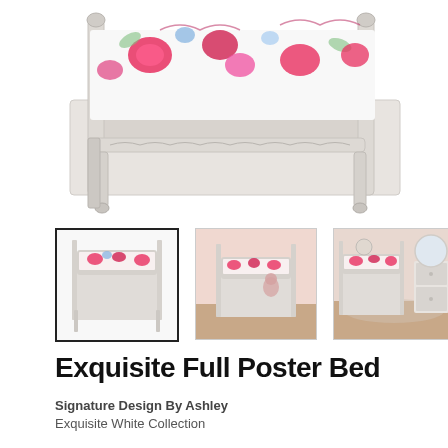[Figure (photo): Main product photo of an ornate white full poster bed with tufted silver headboard/footboard details and colorful floral pink bedding, viewed at an angle showing the footboard and partial side.]
[Figure (photo): Thumbnail 1 (selected): White ornate full poster bed with pink floral bedding, isolated on white background.]
[Figure (photo): Thumbnail 2: White ornate full poster bed with pink floral bedding in a room setting with pink walls.]
[Figure (photo): Thumbnail 3: White bedroom set including the full poster bed, dresser, and mirror in a room setting.]
Exquisite Full Poster Bed
Signature Design By Ashley
Exquisite White Collection